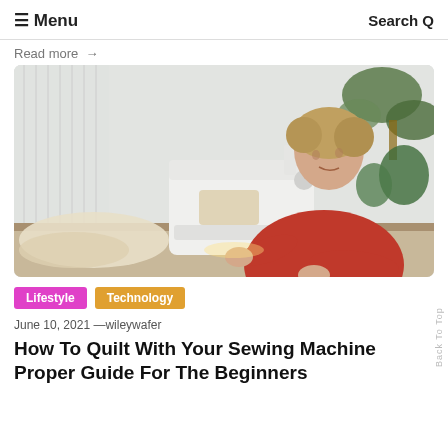≡ Menu   Search Q
Read more →
[Figure (photo): Woman in red sweater using a white sewing machine at a workbench with fabric and plants in background]
Lifestyle
Technology
June 10, 2021 —wileywafer
How To Quilt With Your Sewing Machine Proper Guide For The Beginners